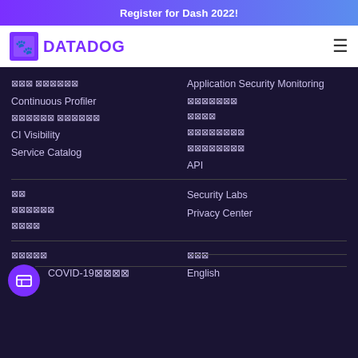Register for Dash 2022!
[Figure (logo): Datadog logo with dog icon and DATADOG wordmark in purple]
⊠⊠⊠ ⊠⊠⊠⊠⊠⊠
Continuous Profiler
⊠⊠⊠⊠⊠⊠ ⊠⊠⊠⊠⊠⊠
CI Visibility
Service Catalog
Application Security Monitoring
⊠⊠⊠⊠⊠⊠⊠
⊠⊠⊠⊠
⊠⊠⊠⊠⊠⊠⊠⊠
⊠⊠⊠⊠⊠⊠⊠⊠
API
⊠⊠
⊠⊠⊠⊠⊠⊠
⊠⊠⊠⊠
Security Labs
Privacy Center
⊠⊠⊠⊠⊠
⊠⊠⊠
COVID-19⊠⊠⊠⊠
English